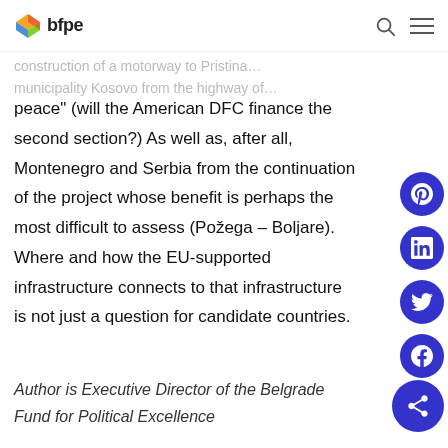bfpe
peace" (will the American DFC finance the second section?) As well as, after all, Montenegro and Serbia from the continuation of the project whose benefit is perhaps the most difficult to assess (Požega – Boljare). Where and how the EU-supported infrastructure connects to that infrastructure is not just a question for candidate countries.
Author is Executive Director of the Belgrade Fund for Political Excellence